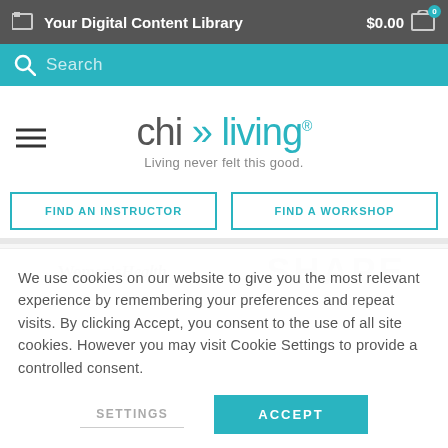Your Digital Content Library   $0.00  0
Search
[Figure (logo): chi >> living logo with tagline 'Living never felt this good.']
FIND AN INSTRUCTOR
FIND A WORKSHOP
[Figure (logo): Women's Health magazine logo (grey)]
[Figure (logo): SHAPE magazine logo (grey)]
We use cookies on our website to give you the most relevant experience by remembering your preferences and repeat visits. By clicking Accept, you consent to the use of all site cookies. However you may visit Cookie Settings to provide a controlled consent.
SETTINGS
ACCEPT